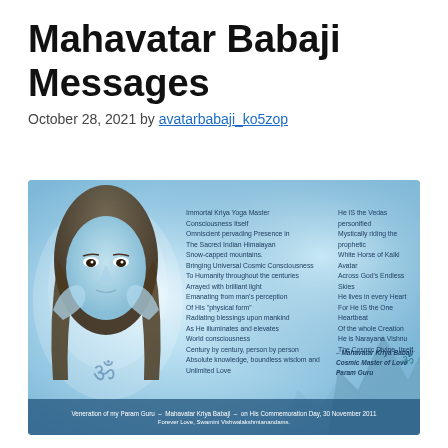Mahavatar Babaji Messages
October 28, 2021 by avatarbabaji_ko5zop
[Figure (illustration): Illustration of Mahavatar Babaji with poem text overlay on a blue ethereal background. Left column poem: 'Immortal Kriya Yoga Master / Consciousness Itself / Omniscient pervading Presence in / The Sacred Indian Himalayan / Snow-capped mountains. / Bringing Universal Cosmic Consciousness / To Humanity throughout the centuries / Arrayed with brilliant light / Emanating from man's perception / Of His "physical form" / Radiating blessings upon mankind / As He illuminates and elevates / World consciousness / Century by century, person by person / Absolute knowledge, boundless wisdom and / Unlimited Love'. Right column: 'He IS the Vedas personified / Mystically riding the prophetic / White Horse of Kalki Avatar / Across God's Endless Skies / He lives in every Heart / For He IS the One Heartbeat / Of the whole Creation / He is Narayana Vishnu / The Cosmic Divine, Itself.' Attribution: '– Mahavatar Kriya Babaji / Cosmic Master of Love / Param Guru'. Footer: 'Veneration of my Param Guru – Mahavatar Kriya Babaji – on His Commemoration Day, 30 November 2011 / Forever Love, Swamini Vishwalakshmianandams.']